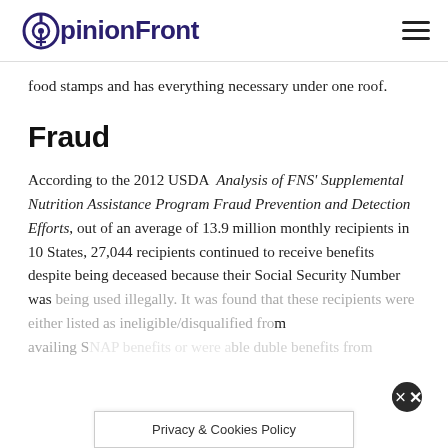OpinionFront
food stamps and has everything necessary under one roof.
Fraud
According to the 2012 USDA Analysis of FNS' Supplemental Nutrition Assistance Program Fraud Prevention and Detection Efforts, out of an average of 13.9 million monthly recipients in 10 States, 27,044 recipients continued to receive benefits despite being deceased because their Social Security Number was being used illegally. It was found that these recipients were either listed as ineligible/disqualified from availing SNAP benefits or were availing double benefits from